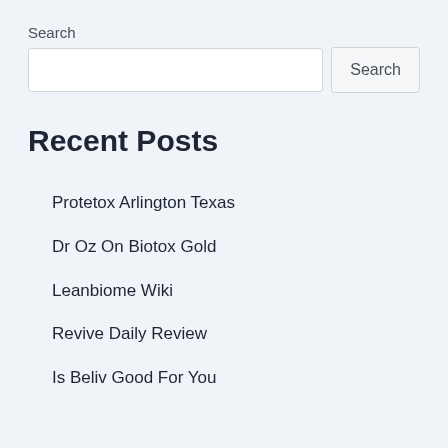Search
Recent Posts
Protetox Arlington Texas
Dr Oz On Biotox Gold
Leanbiome Wiki
Revive Daily Review
Is Beliv Good For You